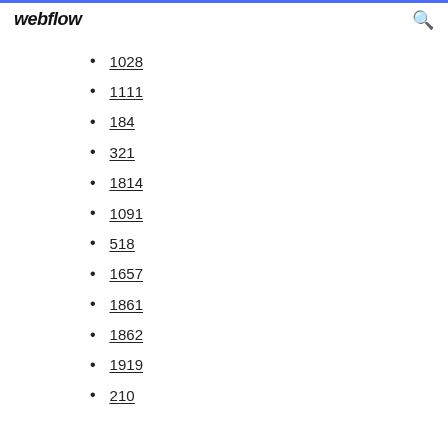webflow
1028
1111
184
321
1814
1091
518
1657
1861
1862
1919
210